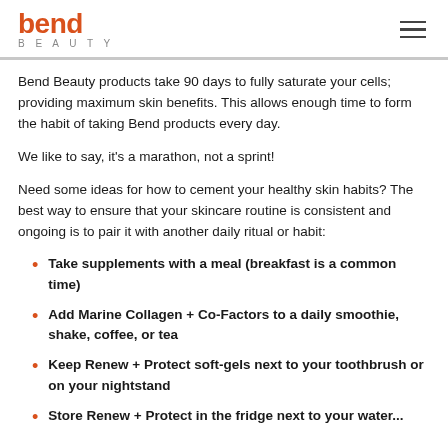bend BEAUTY
Bend Beauty products take 90 days to fully saturate your cells; providing maximum skin benefits. This allows enough time to form the habit of taking Bend products every day.
We like to say, it's a marathon, not a sprint!
Need some ideas for how to cement your healthy skin habits? The best way to ensure that your skincare routine is consistent and ongoing is to pair it with another daily ritual or habit:
Take supplements with a meal (breakfast is a common time)
Add Marine Collagen + Co-Factors to a daily smoothie, shake, coffee, or tea
Keep Renew + Protect soft-gels next to your toothbrush or on your nightstand
Store Renew + Protect in the fridge next to your water...